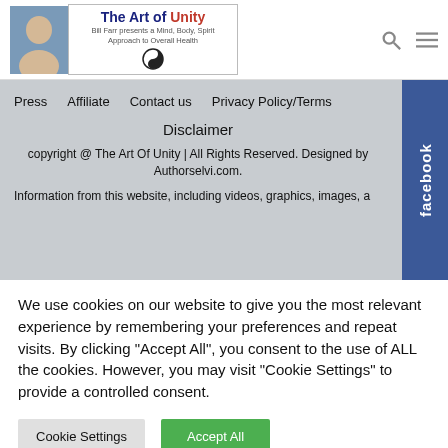The Art of Unity — Bill Farr presents a Mind, Body, Spirit Approach to Overall Health
Press   Affiliate   Contact us   Privacy Policy/Terms
Disclaimer
copyright @ The Art Of Unity | All Rights Reserved. Designed by Authorselvi.com.
Information from this website, including videos, graphics, images, a…
We use cookies on our website to give you the most relevant experience by remembering your preferences and repeat visits. By clicking "Accept All", you consent to the use of ALL the cookies. However, you may visit "Cookie Settings" to provide a controlled consent.